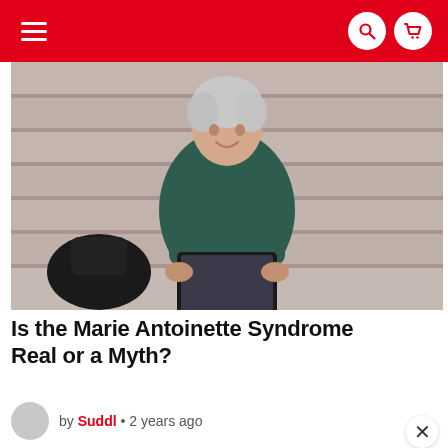Navigation bar with hamburger menu, search icon, and cart icon on red background
[Figure (photo): An older woman with short white/gray hair wearing a dark green top, sitting on outdoor concrete steps and looking at a tablet device, with a bag beside her.]
Is the Marie Antoinette Syndrome Real or a Myth?
by Suddl • 2 years ago